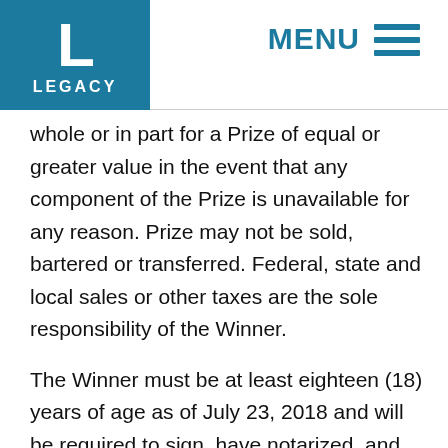[Figure (logo): Legacy company logo — teal square with large white L and LEGACY text below]
MENU ☰
whole or in part for a Prize of equal or greater value in the event that any component of the Prize is unavailable for any reason. Prize may not be sold, bartered or transferred. Federal, state and local sales or other taxes are the sole responsibility of the Winner.
The Winner must be at least eighteen (18) years of age as of July 23, 2018 and will be required to sign, have notarized, and return an Affidavit of Eligibility and Liability/Publicity Release within three (3) calendar days of Prize notification. If any Winner is younger than the age of majority in his/her state or province of residence as of July 23, 2018 then such individual's parent or legal